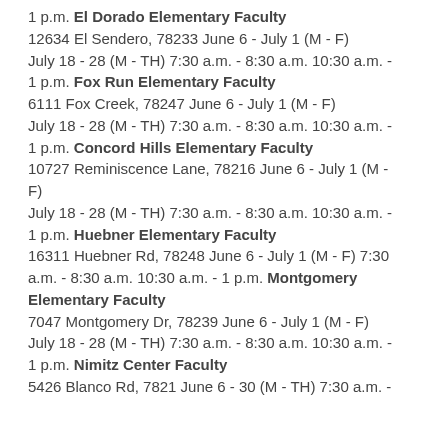1 p.m. El Dorado Elementary Faculty
12634 El Sendero, 78233 June 6 - July 1 (M - F)
July 18 - 28 (M - TH) 7:30 a.m. - 8:30 a.m. 10:30 a.m. - 1 p.m. Fox Run Elementary Faculty
6111 Fox Creek, 78247 June 6 - July 1 (M - F)
July 18 - 28 (M - TH) 7:30 a.m. - 8:30 a.m. 10:30 a.m. - 1 p.m. Concord Hills Elementary Faculty
10727 Reminiscence Lane, 78216 June 6 - July 1 (M - F)
July 18 - 28 (M - TH) 7:30 a.m. - 8:30 a.m. 10:30 a.m. - 1 p.m. Huebner Elementary Faculty
16311 Huebner Rd, 78248 June 6 - July 1 (M - F) 7:30 a.m. - 8:30 a.m. 10:30 a.m. - 1 p.m. Montgomery Elementary Faculty
7047 Montgomery Dr, 78239 June 6 - July 1 (M - F)
July 18 - 28 (M - TH) 7:30 a.m. - 8:30 a.m. 10:30 a.m. - 1 p.m. Nimitz Center Faculty
5426 Blanco Rd, 7821 June 6 - 30 (M - TH) 7:30 a.m. -